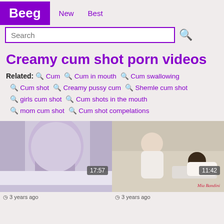Beeg | New | Best
Search
Creamy cum shot porn videos
Related: 🔍 Cum  🔍 Cum in mouth  🔍 Cum swallowing  🔍 Cum shot  🔍 Creamy pussy cum  🔍 Shemle cum shot  🔍 girls cum shot  🔍 Cum shots in the mouth  🔍 mom cum shot  🔍 Cum shot compelations
[Figure (photo): Video thumbnail showing person in white/lavender leggings, duration 17:57]
[Figure (photo): Video thumbnail showing person in white robe on sofa, duration 11:42, watermark Mia Bandini]
3 years ago
3 years ago